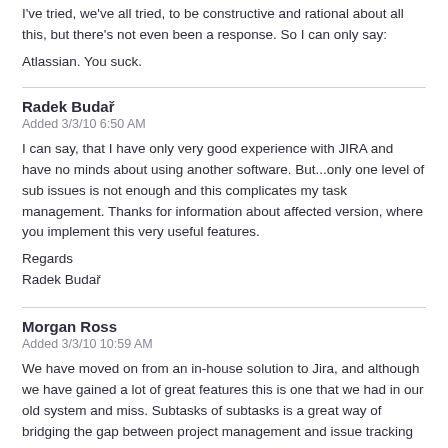I've tried, we've all tried, to be constructive and rational about all this, but there's not even been a response. So I can only say:
Atlassian. You suck.
Radek Budař
Added 3/3/10 6:50 AM
I can say, that I have only very good experience with JIRA and have no minds about using another software. But...only one level of sub issues is not enough and this complicates my task management. Thanks for information about affected version, where you implement this very useful features.
Regards
Radek Budař
Morgan Ross
Added 3/3/10 10:59 AM
We have moved on from an in-house solution to Jira, and although we have gained a lot of great features this is one that we had in our old system and miss. Subtasks of subtasks is a great way of bridging the gap between project management and issue tracking in a way...